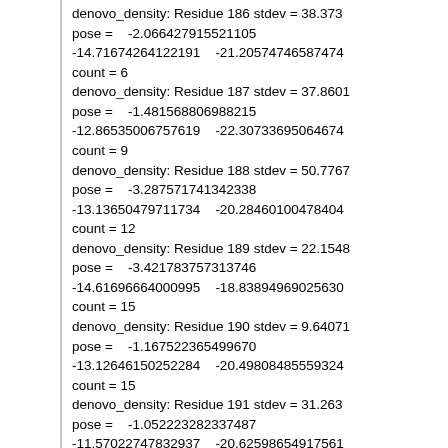denovo_density: Residue 186 stdev = 38.373
pose =    -2.066427915521105
-14.71674264122191    -21.20574746587474
count = 6
denovo_density: Residue 187 stdev = 37.8601
pose =    -1.481568806988215
-12.86535006757619    -22.30733695064674
count = 9
denovo_density: Residue 188 stdev = 50.7767
pose =    -3.287571741342338
-13.13650479711734    -20.28460100478404
count = 12
denovo_density: Residue 189 stdev = 22.1548
pose =    -3.421783757313746
-14.61696664000995    -18.83894969025630
count = 15
denovo_density: Residue 190 stdev = 9.64071
pose =    -1.167522365499670
-13.12646150252284    -20.49808485559324
count = 15
denovo_density: Residue 191 stdev = 31.263
pose =    -1.052223282337487
-11.57022747832937    -20.62598654917561
count = 15